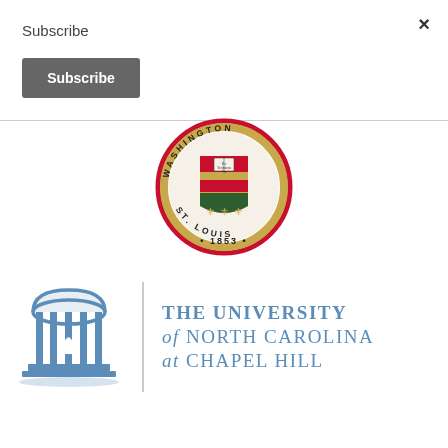×
Subscribe
Subscribe
[Figure (logo): Washington University in St. Louis seal/logo, circular with red and gold shield, fleur-de-lis, text 'Per Veritatem Vis', 'WASHINGTON', 'ST. LOUIS', '1853']
[Figure (logo): The University of North Carolina at Chapel Hill logo with blue well building icon and text]